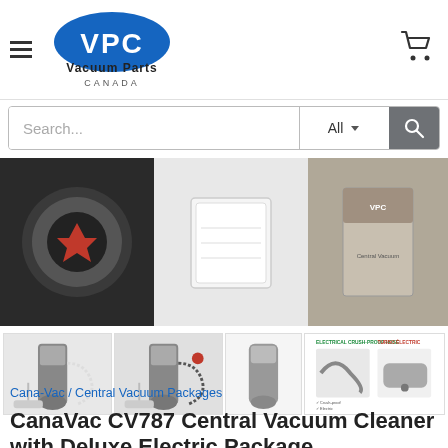[Figure (logo): Vacuum Parts Canada logo with VPC letters in blue oval and text below]
[Figure (screenshot): Search bar with text field showing 'Search...', dropdown 'All', and gray search button with magnifying glass icon]
[Figure (photo): Strip of central vacuum product photos showing a round unit, filter, and box]
[Figure (photo): Four product thumbnail images showing CanaVac CV787 central vacuum cleaner packages with accessories]
Cana-Vac / Central Vacuum Packages
CanaVac CV787 Central Vacuum Cleaner with Deluxe Electric Package